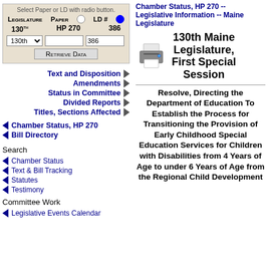[Figure (screenshot): Form with Legislature, Paper, LD# radio buttons, dropdowns and Retrieve Data button. 130th HP 270 386.]
Text and Disposition
Amendments
Status in Committee
Divided Reports
Titles, Sections Affected
Chamber Status, HP 270
Bill Directory
Search
Chamber Status
Text & Bill Tracking
Statutes
Testimony
Committee Work
Legislative Events Calendar
Chamber Status, HP 270 -- Legislative Information -- Maine Legislature
130th Maine Legislature, First Special Session
Resolve, Directing the Department of Education To Establish the Process for Transitioning the Provision of Early Childhood Special Education Services for Children with Disabilities from 4 Years of Age to under 6 Years of Age from the Regional Child Development